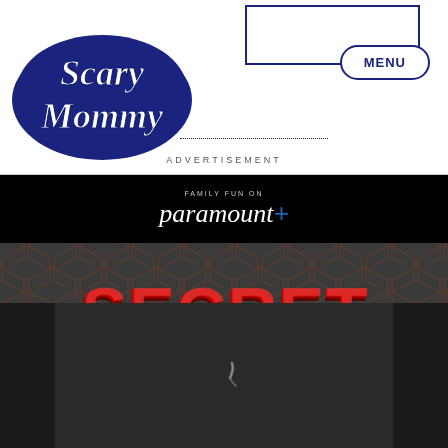[Figure (logo): Scary Mommy logo - white cursive text on dark blue rounded background]
[Figure (screenshot): Advertisement box with partial text 'AT POTTERY BARN KIDS' and arrow, dark blue border]
MENU
ADVERTISEMENT
[Figure (logo): Paramount+ logo with text 'FAMILY FUN ON Paramount+' on black background]
[Figure (photo): Secret Headquarters movie promotional image - Owen Wilson movie title on dark hexagonal background with bottom image strip showing partial movie scene]